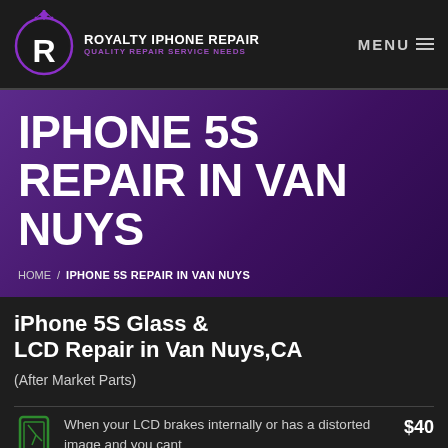[Figure (logo): Royalty iPhone Repair logo — purple crown above a circle with R, company name and tagline]
IPHONE 5S REPAIR IN VAN NUYS
HOME / IPHONE 5S REPAIR IN VAN NUYS
iPhone 5S Glass & LCD Repair in Van Nuys,CA
(After Market Parts)
When your LCD brakes internally or has a distorted image and you cant
$40